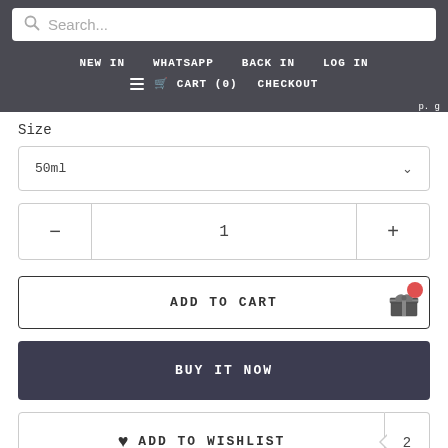Search...
NEW IN   WHATSAPP   BACK IN   LOG IN   CART (0)   CHECKOUT
Size
50ml
1
ADD TO CART
BUY IT NOW
ADD TO WISHLIST
2